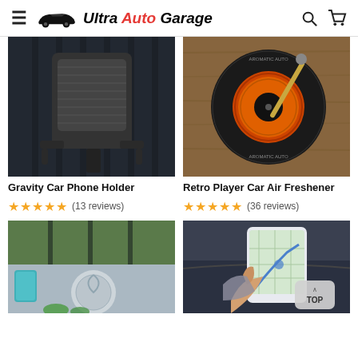Ultra Auto Garage
[Figure (photo): Gravity Car Phone Holder mounted on car air vent]
[Figure (photo): Retro Player Car Air Freshener with vinyl record design on wooden base]
Gravity Car Phone Holder
Retro Player Car Air Freshener
★★★★★ (13 reviews)
★★★★★ (36 reviews)
[Figure (photo): Car seat protector/cover with ventilation and teal pockets]
[Figure (photo): Smartphone on car dashboard showing maps navigation, hand holding phone]